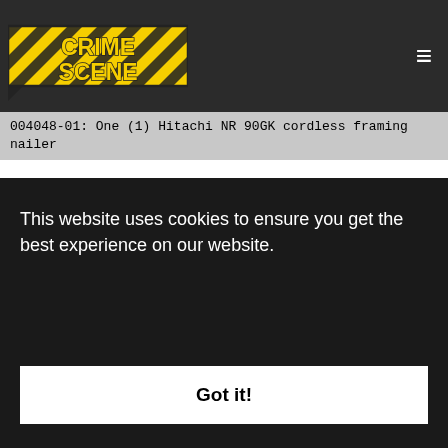CRIME SCENE
004048-01: One (1) Hitachi NR 90GK cordless framing nailer
| Print # | Identification |
| --- | --- |
| 004048-P001 | 8 points of similarity to Kurt Grubman L2 |
| 004048-P002 | 11 points of similarity to Jeff Harte R2 |
| 004048-P003 | 10 points of similarity to Meg Lancaster L4 |
| 004048-P004 | 9 points of similarity to Annette Wyatt R3 |
This website uses cookies to ensure you get the best experience on our website.
Got it!